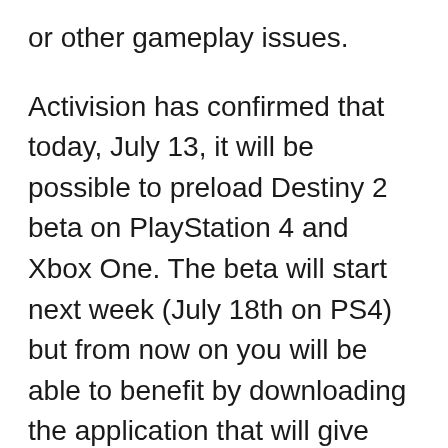or other gameplay issues.
Activision has confirmed that today, July 13, it will be possible to preload Destiny 2 beta on PlayStation 4 and Xbox One. The beta will start next week (July 18th on PS4) but from now on you will be able to benefit by downloading the application that will give access to the trial version. Sep 26, 2019 · The official release of Destiny 2's Shadowkeep expansion and the game's migration from Battle.net to Steam is just days away on October 1st; however, ...
Sep 04, 2014 · Preloading Explained - How to Preload Xbox One & PS4 Subscribe Like Comment, Subscribe to